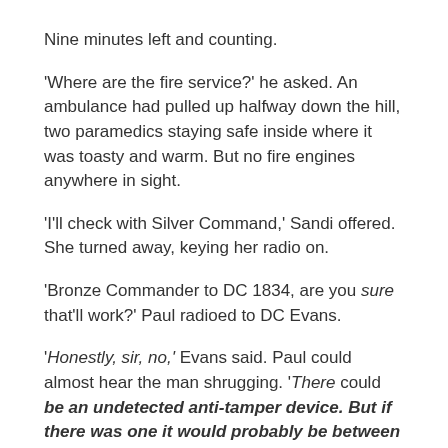Nine minutes left and counting.
'Where are the fire service?' he asked. An ambulance had pulled up halfway down the hill, two paramedics staying safe inside where it was toasty and warm. But no fire engines anywhere in sight.
'I'll check with Silver Command,' Sandi offered. She turned away, keying her radio on.
'Bronze Commander to DC 1834, are you sure that'll work?' Paul radioed to DC Evans.
'Honestly, sir, no,' Evans said. Paul could almost hear the man shrugging. 'There could be an undetected anti-tamper device. But if there was one it would probably be between the timer and the detonator, and it'd been cut still, hasn't it…'